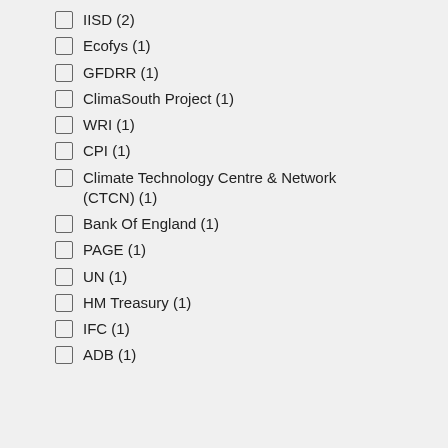IISD (2)
Ecofys (1)
GFDRR (1)
ClimaSouth Project (1)
WRI (1)
CPI (1)
Climate Technology Centre & Network (CTCN) (1)
Bank Of England (1)
PAGE (1)
UN (1)
HM Treasury (1)
IFC (1)
ADB (1)